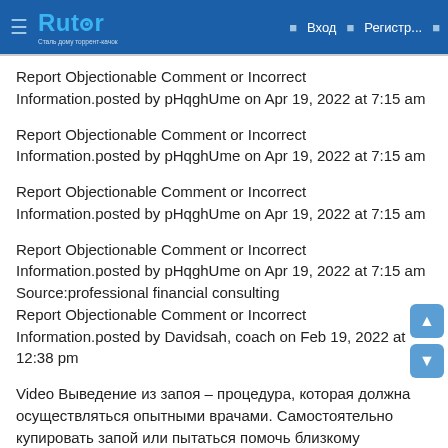Rutor — Вход — Регистр...
Report Objectionable Comment or Incorrect Information.posted by pHqghUme on Apr 19, 2022 at 7:15 am
Report Objectionable Comment or Incorrect Information.posted by pHqghUme on Apr 19, 2022 at 7:15 am
Report Objectionable Comment or Incorrect Information.posted by pHqghUme on Apr 19, 2022 at 7:15 am
Report Objectionable Comment or Incorrect Information.posted by pHqghUme on Apr 19, 2022 at 7:15 am
Source:professional financial consulting
Report Objectionable Comment or Incorrect Information.posted by Davidsah, coach on Feb 19, 2022 at 12:38 pm
Video Выведение из запоя – процедура, которая должна осуществляться опытными врачами. Самостоятельно купировать запой или пытаться помочь близкому уговорами, ультиматумами или народными средствами не только